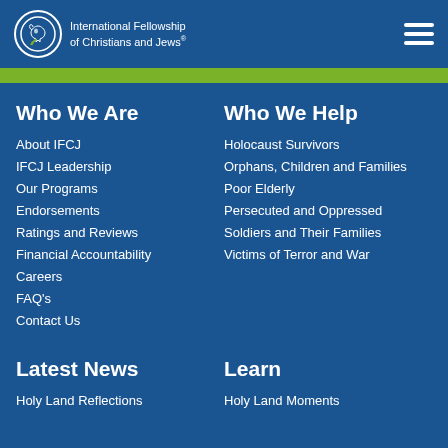International Fellowship of Christians and Jews®
Who We Are
About IFCJ
IFCJ Leadership
Our Programs
Endorsements
Ratings and Reviews
Financial Accountability
Careers
FAQ's
Contact Us
Who We Help
Holocaust Survivors
Orphans, Children and Families
Poor Elderly
Persecuted and Oppressed
Soldiers and Their Families
Victims of Terror and War
Latest News
Holy Land Reflections
Learn
Holy Land Moments